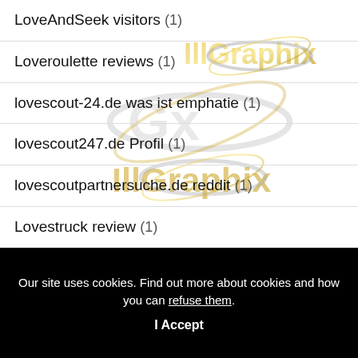LoveAndSeek visitors (1)
Loveroulette reviews (1)
lovescout-24.de was ist emphatie (1)
lovescout247.de Profil (1)
lovescoutpartnersuche.de reddit (1)
Lovestruck review (1)
[Figure (logo): IllGraphix watermark logo with gold and silver lettering appearing multiple times across the white background]
Our site uses cookies. Find out more about cookies and how you can refuse them.
I Accept